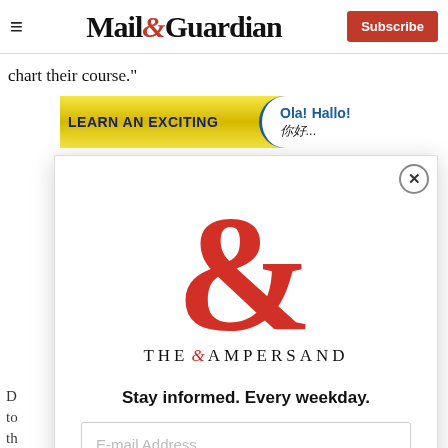Mail&Guardian — Subscribe
chart their course."
[Figure (illustration): Learn an exciting language advertisement banner with yellow/gold background, showing 'LEARN AN EXCITING' in dark blue bold text and foreign language greetings 'Ola! Hallo!' with Chinese characters on the right side]
[Figure (logo): The Ampersand newsletter modal popup showing a large red ampersand symbol with 'THE AMPERSAND' text, tagline 'Stay informed. Every weekday.', an email address input field, and a red 'Signup now' button with close X button]
D
to
th